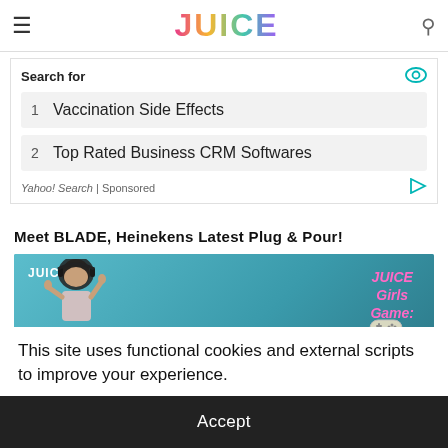JUICE
Search for
1 Vaccination Side Effects
2 Top Rated Business CRM Softwares
Yahoo! Search | Sponsored
Meet BLADE, Heinekens Latest Plug & Pour!
[Figure (photo): Screenshot of a JUICE Girls Game video thumbnail showing a woman wearing headphones and hijab against a teal background, with pink italic text reading 'JUICE Girls Game:' and a game controller icon, and 'Pacify' text at bottom right]
This site uses functional cookies and external scripts to improve your experience.
Accept